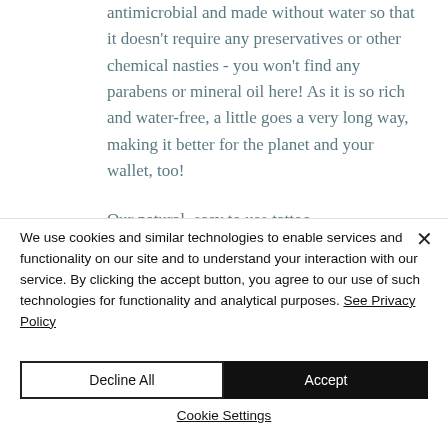antimicrobial and made without water so that it doesn't require any preservatives or other chemical nasties - you won't find any parabens or mineral oil here! As it is so rich and water-free, a little goes a very long way, making it better for the planet and your wallet, too!
Our natural, easy to use tattoo
We use cookies and similar technologies to enable services and functionality on our site and to understand your interaction with our service. By clicking the accept button, you agree to our use of such technologies for functionality and analytical purposes. See Privacy Policy
Decline All
Accept
Cookie Settings